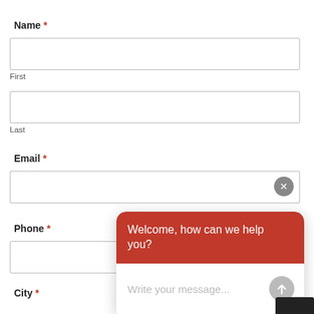Name *
First
Last
Email *
Phone *
City *
[Figure (screenshot): Chat widget with red header saying 'Welcome, how can we help you?' and a message input area below with placeholder 'Write your message...' and a send button]